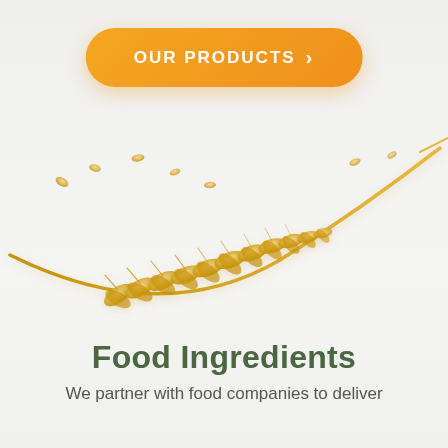[Figure (illustration): Orange rounded rectangle button with white bold text 'OUR PRODUCTS' and a right-pointing chevron '>']
[Figure (illustration): A golden wheat ear sweeping in a curved arc from left to right with scattered wheat grains, on a light gray background]
Food Ingredients
We partner with food companies to deliver